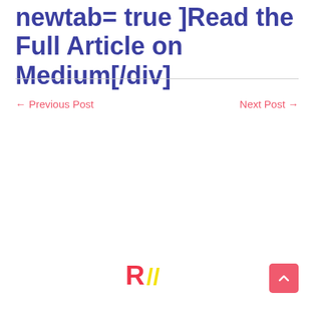newtab= true ]Read the Full Article on Medium[/div]
← Previous Post   Next Post →
[Figure (logo): R// logo in red and yellow]